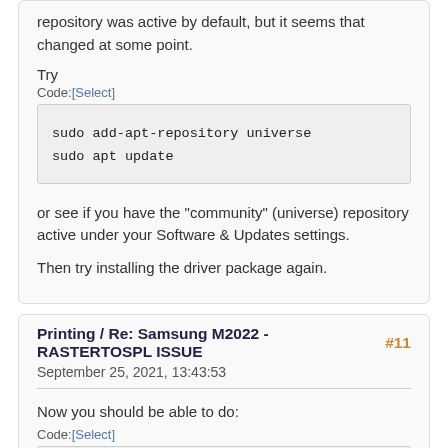repository was active by default, but it seems that changed at some point.
Try
Code:[Select]
sudo add-apt-repository universe
sudo apt update
or see if you have the "community" (universe) repository active under your Software & Updates settings.
Then try installing the driver package again.
Printing / Re: Samsung M2022 - RASTERTOSPL ISSUE #11
September 25, 2021, 13:43:53
Now you should be able to do:
Code:[Select]